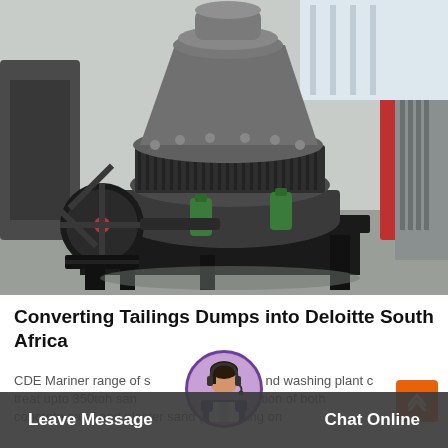[Figure (photo): Industrial cone crusher machine in a factory setting, large grey metal machinery on a black steel frame with green hydraulic cylinders, pulley wheel visible on left side, warehouse background]
Converting Tailings Dumps into Deloitte South Africa
CDE Mariner range of sand washing plant c treat upto 350toh san oduction of both concrete sand and plaster sand (depending on
Leave Message   Chat Online